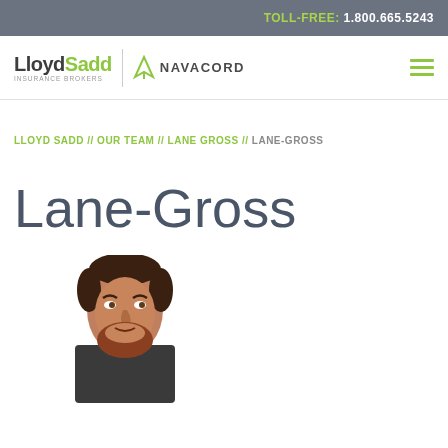TOLL-FREE: 1.800.665.5243
[Figure (logo): LloydSadd Insurance Brokers and Navacord logo with navigation hamburger menu]
LLOYD SADD // OUR TEAM // LANE GROSS // LANE-GROSS
Lane-Gross
[Figure (photo): Headshot photo of a man with short brown hair and beard, wearing a dark collar shirt, cropped at chest level]